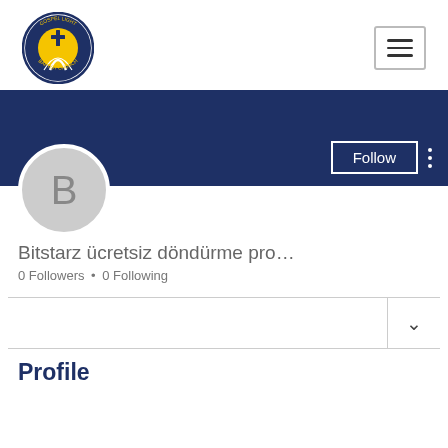[Figure (logo): Gospel Light Baptist Church circular logo with cross and sun rays]
[Figure (other): Hamburger menu icon with three horizontal lines in a bordered box]
[Figure (other): Dark navy blue banner/cover photo area for user profile]
[Figure (other): Circular avatar placeholder with letter B in grey circle]
[Figure (other): Follow button (white bordered) and three-dot menu on navy background]
Bitstarz ücretsiz döndürme pro…
0 Followers • 0 Following
[Figure (other): Dropdown chevron (v) in a bordered row]
Profile